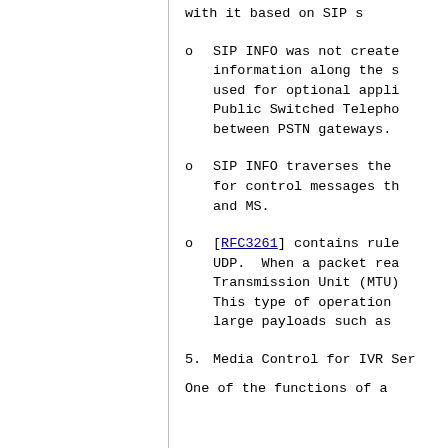with it based on SIP s
SIP INFO was not create information along the s used for optional appli Public Switched Telepho between PSTN gateways.
SIP INFO traverses the for control messages th and MS.
[RFC3261] contains rule UDP.  When a packet rea Transmission Unit (MTU) This type of operation large payloads such as
5.  Media Control for IVR Ser
One of the functions of a